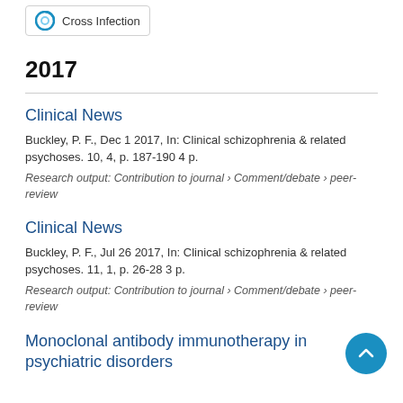[Figure (logo): Cross Infection badge/label with circular icon]
2017
Clinical News
Buckley, P. F., Dec 1 2017, In: Clinical schizophrenia & related psychoses. 10, 4, p. 187-190 4 p.
Research output: Contribution to journal › Comment/debate › peer-review
Clinical News
Buckley, P. F., Jul 26 2017, In: Clinical schizophrenia & related psychoses. 11, 1, p. 26-28 3 p.
Research output: Contribution to journal › Comment/debate › peer-review
Monoclonal antibody immunotherapy in psychiatric disorders